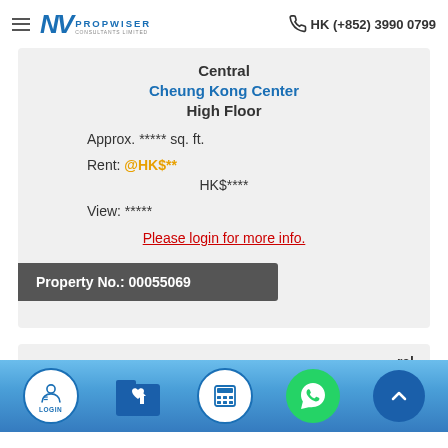PROPWISER CONSULTANTS LIMITED | HK (+852) 3990 0799
Central
Cheung Kong Center
High Floor
Approx. ***** sq. ft.
Rent: @HK$**
HK$****
View: *****
Please login for more info.
Property No.: 00055069
[Figure (other): Bottom navigation bar with LOGIN, favorites folder, calculator, WhatsApp, and scroll-up icons on blue gradient background]